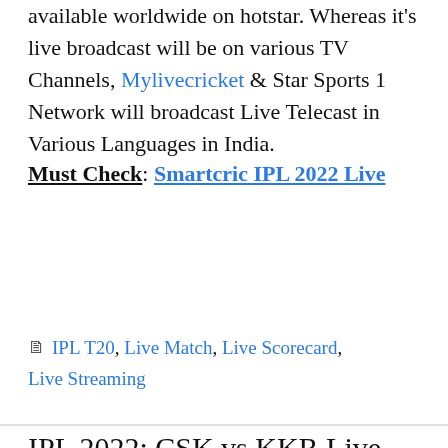available worldwide on hotstar. Whereas it's live broadcast will be on various TV Channels, Mylivecricket & Star Sports 1 Network will broadcast Live Telecast in Various Languages in India.
Must Check: Smartcric IPL 2022 Live
Read more
Categories: IPL T20, Live Match, Live Scorecard, Live Streaming
IPL 2022: CSK vs KKR Live